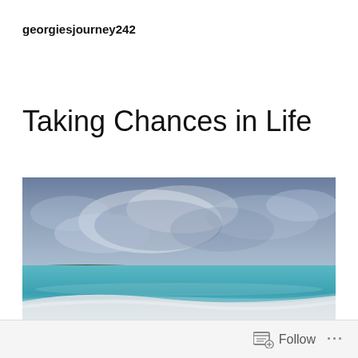georgiesjourney242
Taking Chances in Life
[Figure (photo): A beach scene with white sand in the foreground, turquoise/blue water in the middle, a thin strip of green vegetation on the horizon, and a dramatic cloudy grey-blue sky above.]
Follow ...